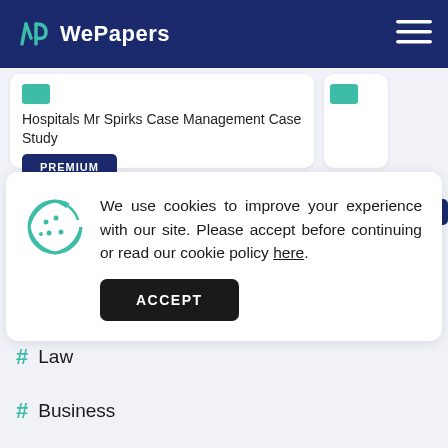WePapers
Hospitals Mr Spirks Case Management Case Study
PREMIUM
We use cookies to improve your experience with our site. Please accept before continuing or read our cookie policy here.
ACCEPT
# Law
# Business